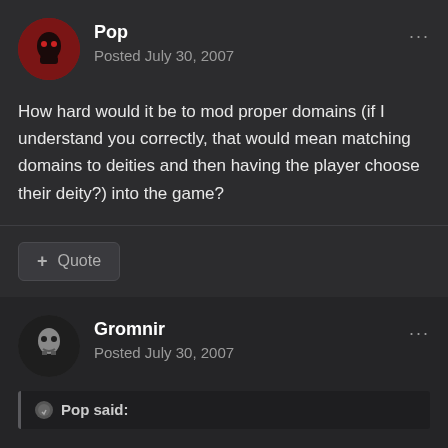[Figure (illustration): Avatar for user Pop: circular avatar with dark red background and small ghost-like figure]
Pop
Posted July 30, 2007
How hard would it be to mod proper domains (if I understand you correctly, that would mean matching domains to deities and then having the player choose their deity?) into the game?
+ Quote
[Figure (illustration): Avatar for user Gromnir: circular avatar with dark background and skull/face icon]
Gromnir
Posted July 30, 2007
Pop said: